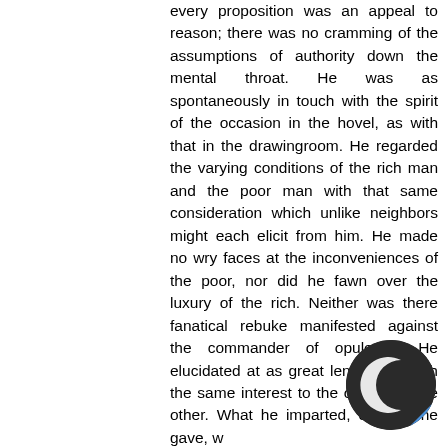every proposition was an appeal to reason; there was no cramming of the assumptions of authority down the mental throat. He was as spontaneously in touch with the spirit of the occasion in the hovel, as with that in the drawingroom. He regarded the varying conditions of the rich man and the poor man with that same consideration which unlike neighbors might each elicit from him. He made no wry faces at the inconveniences of the poor, nor did he fawn over the luxury of the rich. Neither was there fanatical rebuke manifested against the commander of opulence. He elucidated at as great length and with the same interest to the one as to the other. What he imparted, or what he gave, w with the air of a prince. There w of the awful griping that is evinced by the